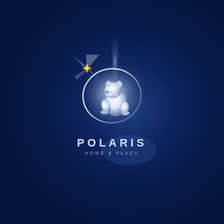[Figure (logo): Polaris Home & Plaza logo: a silver polar bear silhouette inside a chrome orbit ring with a gold four-pointed star at top-left, bright light flare radiating from upper-left, on a dark navy blue background. Below the graphic: 'POLARIS' in bold silver-white letters, 'HOME & PLAZA' in smaller spaced letters.]